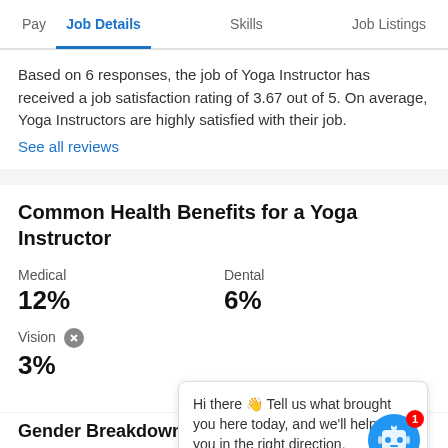Pay | Job Details | Skills | Job Listings
Based on 6 responses, the job of Yoga Instructor has received a job satisfaction rating of 3.67 out of 5. On average, Yoga Instructors are highly satisfied with their job.
See all reviews
Common Health Benefits for a Yoga Instructor
Medical
12%
Dental
6%
Vision
3%
Hi there 👋 Tell us what brought you here today, and we'll help point you in the right direction.
Gender Breakdown for Yoga Instructors